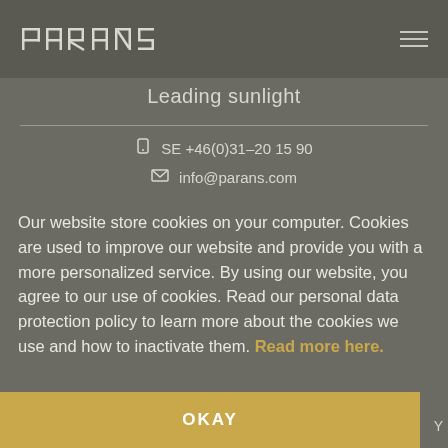[Figure (logo): Parans logo in white on dark grey header bar]
Leading sunlight
SE +46(0)31–20 15 90
info@parans.com
Our website store cookies on your computer. Cookies are used to improve our website and provide you with a more personalized service. By using our website, you agree to our use of cookies. Read our personal data protection policy to learn more about the cookies we use and how to inactivate them. Read more here.
OKAY